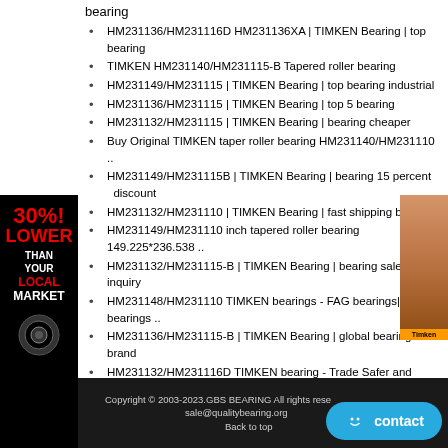bearing
HM231136/HM231116D HM231136XA | TIMKEN Bearing | top bearing
TIMKEN HM231140/HM231115-B Tapered roller bearing
HM231149/HM231115 | TIMKEN Bearing | top bearing industrial
HM231136/HM231115 | TIMKEN Bearing | top 5 bearing
HM231132/HM231115 | TIMKEN Bearing | bearing cheaper
Buy Original TIMKEN taper roller bearing HM231140/HM231110 ..
HM231149/HM231115B | TIMKEN Bearing | bearing 15 percent discount
HM231132/HM231110 | TIMKEN Bearing | fast shipping bearing
HM231149/HM231110 inch tapered roller bearing 149.225*236.538 ..
HM231132/HM231115-B | TIMKEN Bearing | bearing sale inquiry
HM231148/HM231110 TIMKEN bearings - FAG bearings|INA bearings ..
HM231136/HM231115-B | TIMKEN Bearing | global bearing brand
HM231132/HM231116D TIMKEN bearing - Trade Safer and Easier ..
HM252349/HM252310CD HM252349XC | TIMKEN Bearing | global bearing brand
Copyright © 2003-2023.GBS BEARING All rights reserved sale@qualitybearing.org Back to top